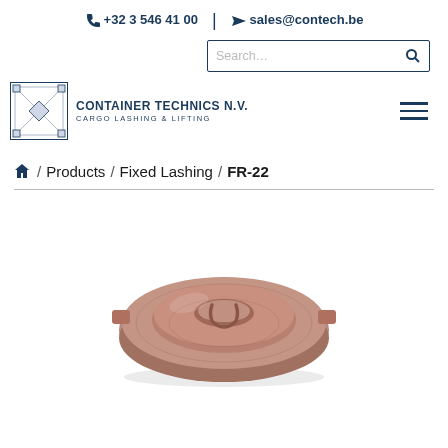+32 3 546 41 00  |  sales@contech.be
[Figure (other): Search bar with text 'Search...' and magnifying glass icon, bordered in dark blue]
[Figure (logo): Container Technics N.V. logo with cargo lashing frame icon and company name 'CONTAINER TECHNICS N.V. CARGO LASHING & LIFTING']
⌂ / Products / Fixed Lashing / FR-22
[Figure (photo): Photo of FR-22 product: a round flat metal lashing plate/ring in dark bronze/copper color, viewed from above, showing its circular form with notches and a central lifting eye shape]